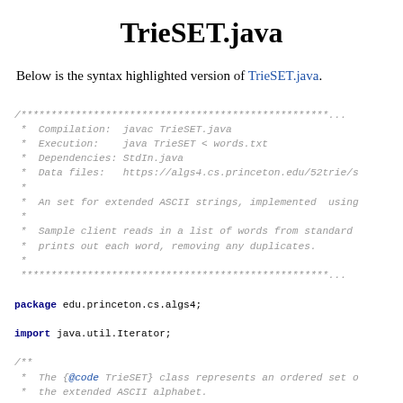TrieSET.java
Below is the syntax highlighted version of TrieSET.java.
/************************************************************
 *  Compilation:  javac TrieSET.java
 *  Execution:    java TrieSET < words.txt
 *  Dependencies: StdIn.java
 *  Data files:   https://algs4.cs.princeton.edu/52trie/s
 *
 *  An set for extended ASCII strings, implemented  using
 *
 *  Sample client reads in a list of words from standard
 *  prints out each word, removing any duplicates.
 *
 ***********************************************************

package edu.princeton.cs.algs4;

import java.util.Iterator;

/**
 *  The {@code TrieSET} class represents an ordered set o
 *  the extended ASCII alphabet.